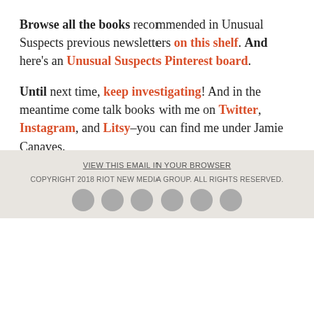Browse all the books recommended in Unusual Suspects previous newsletters on this shelf. And here's an Unusual Suspects Pinterest board.
Until next time, keep investigating! And in the meantime come talk books with me on Twitter, Instagram, and Litsy–you can find me under Jamie Canaves.
If a mystery fan forwarded this newsletter to you and you'd like your very own you can sign up here.
VIEW THIS EMAIL IN YOUR BROWSER
COPYRIGHT 2018 RIOT NEW MEDIA GROUP. ALL RIGHTS RESERVED.